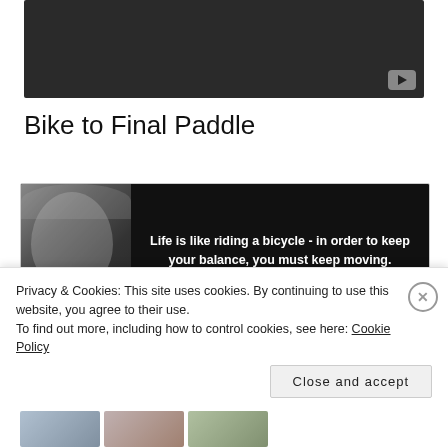[Figure (screenshot): Dark video player placeholder with YouTube play button in bottom-right corner]
Bike to Final Paddle
[Figure (photo): Einstein quote image on black background with black-and-white photo of Albert Einstein on the left. Quote reads: 'Life is like riding a bicycle - in order to keep your balance, you must keep moving.' with attribution partially visible '(Albert Einstein)']
Privacy & Cookies: This site uses cookies. By continuing to use this website, you agree to their use.
To find out more, including how to control cookies, see here: Cookie Policy
Close and accept